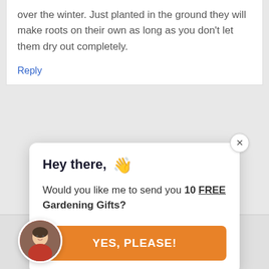over the winter. Just planted in the ground they will make roots on their own as long as you don't let them dry out completely.
Reply
[Figure (other): A popup dialog card with close button, heading 'Hey there, 👋', body text 'Would you like me to send you 10 FREE Gardening Gifts?', and an orange 'YES, PLEASE!' button. A circular avatar photo of a person appears in the bottom-left.]